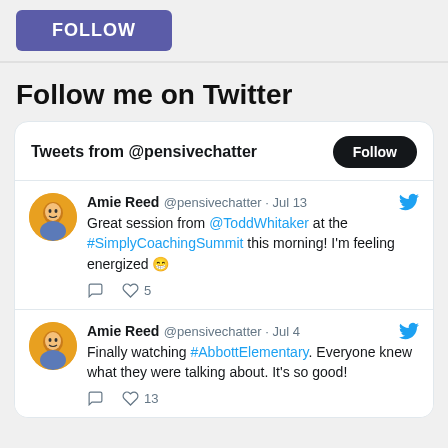[Figure (screenshot): Purple FOLLOW button at top of page]
Follow me on Twitter
[Figure (screenshot): Twitter widget showing tweets from @pensivechatter with a Follow button, and two tweets from Amie Reed (@pensivechatter): one from Jul 13 about a great session from @ToddWhitaker at #SimplyCoachingSummit with 5 likes, and one from Jul 4 about #AbbottElementary with 13 likes.]